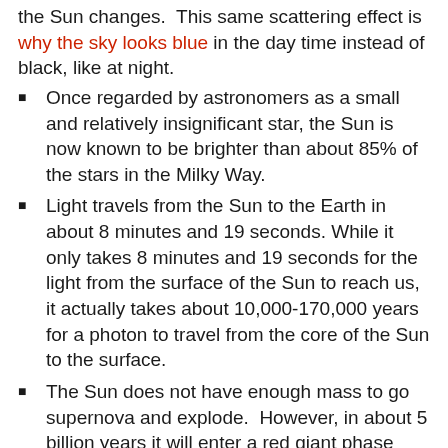the Sun changes.  This same scattering effect is why the sky looks blue in the day time instead of black, like at night.
Once regarded by astronomers as a small and relatively insignificant star, the Sun is now known to be brighter than about 85% of the stars in the Milky Way.
Light travels from the Sun to the Earth in about 8 minutes and 19 seconds. While it only takes 8 minutes and 19 seconds for the light from the surface of the Sun to reach us, it actually takes about 10,000-170,000 years for a photon to travel from the core of the Sun to the surface.
The Sun does not have enough mass to go supernova and explode.  However, in about 5 billion years it will enter a red giant phase steadily expanding until it consumes the Earth.  But fear not, the Earth will already be dead in about 1 billion